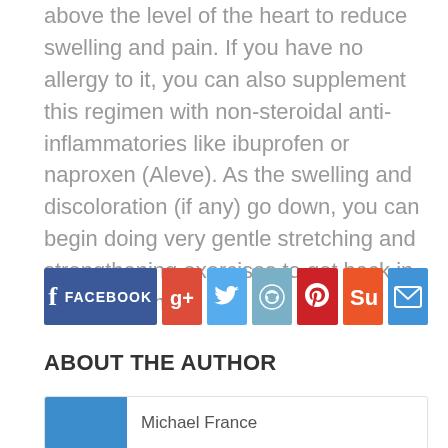above the level of the heart to reduce swelling and pain. If you have no allergy to it, you can also supplement this regimen with non-steroidal anti-inflammatories like ibuprofen or naproxen (Aleve). As the swelling and discoloration (if any) go down, you can begin doing very gentle stretching and strengthening exercises to get back in fighting form.
[Figure (infographic): Social sharing buttons: Facebook, Google+, Twitter, Reddit, Pinterest, StumbleUpon, Email]
ABOUT THE AUTHOR
[Figure (photo): Author photo and name: Michael France]